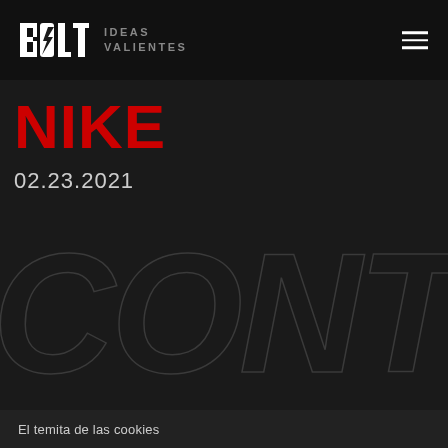BOLT IDEAS VALIENTES
NIKE
02.23.2021
[Figure (other): Large decorative background text reading 'CONT' in outline/stroke style, partially cropped, dark gray on black background]
El temita de las cookies